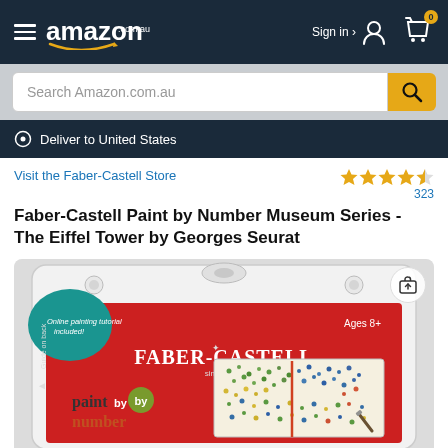amazon .com.au | Sign in | Cart 0
Search Amazon.com.au
Deliver to United States
Visit the Faber-Castell Store
4.5 stars, 323 reviews
Faber-Castell Paint by Number Museum Series - The Eiffel Tower by Georges Seurat
[Figure (photo): Product photo of Faber-Castell Paint by Number Museum Series kit in plastic packaging showing red box with Faber-Castell branding, 'paint by number' text, Ages 8+, Online painting tutorial included, and a dotted impressionist-style painting card.]